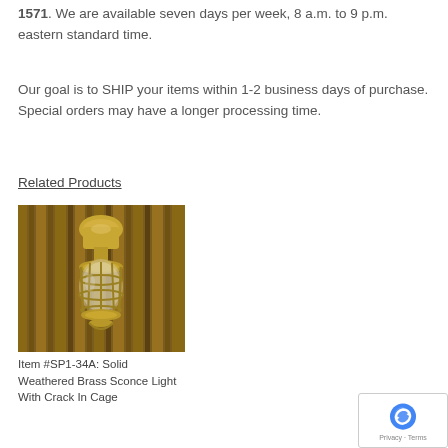1571. We are available seven days per week, 8 a.m. to 9 p.m. eastern standard time.
Our goal is to SHIP your items within 1-2 business days of purchase. Special orders may have a longer processing time.
Related Products
[Figure (photo): A solid weathered brass sconce light with crack in cage, mounted on a wooden panel background. The brass fixture has a cylindrical top mount and a cage-style glass enclosure at the bottom.]
Item #SP1-34A: Solid Weathered Brass Sconce Light With Crack In Cage